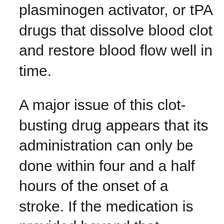plasminogen activator, or tPA drugs that dissolve blood clot and restore blood flow well in time.
A major issue of this clot-busting drug appears that its administration can only be done within four and a half hours of the onset of a stroke. If the medication is provided beyond that window of time it possibly leads to bleeding in the brain. While conducting the study, investigators reviewed data from consecutive patients with acute ischemic stroke treated at Sainte-Anne Hospital in Paris between May 2006